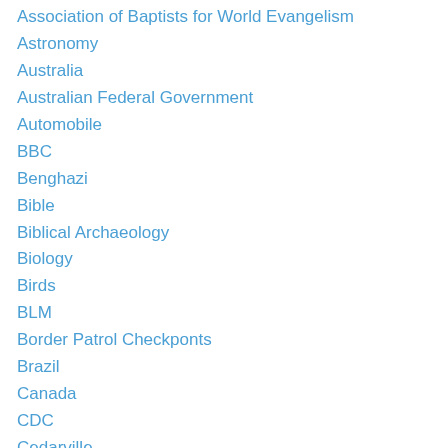Association of Baptists for World Evangelism
Astronomy
Australia
Australian Federal Government
Automobile
BBC
Benghazi
Bible
Biblical Archaeology
Biology
Birds
BLM
Border Patrol Checkponts
Brazil
Canada
CDC
Cedarville
China
Christ
Christian